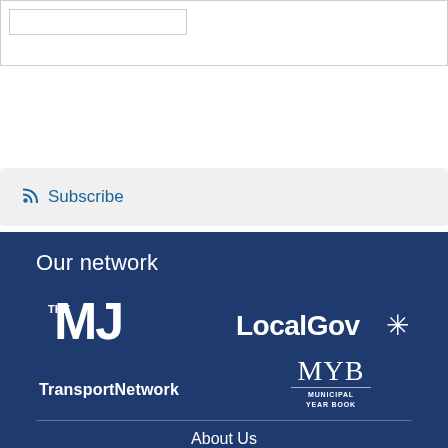[Figure (screenshot): Partial top UI element with inner input box, cropped]
Subscribe
Back to top
Our network
[Figure (logo): THE MJ logo - white text on dark blue background]
[Figure (logo): LocalGov logo with star/asterisk icon]
[Figure (logo): TransportNetwork logo in white bold text]
[Figure (logo): MYB Municipal Year Book logo]
About Us